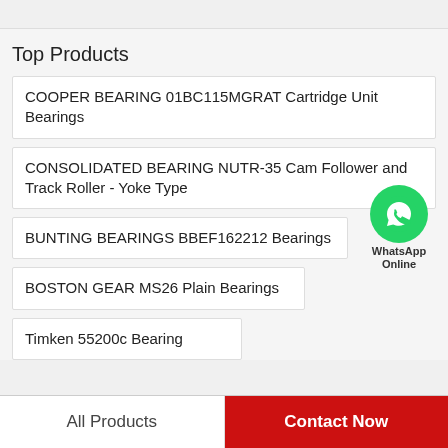Top Products
COOPER BEARING 01BC115MGRAT Cartridge Unit Bearings
CONSOLIDATED BEARING NUTR-35 Cam Follower and Track Roller - Yoke Type
BUNTING BEARINGS BBEF162212 Bearings
BOSTON GEAR MS26 Plain Bearings
Timken 55200c Bearing
[Figure (logo): WhatsApp Online green phone bubble icon with label 'WhatsApp Online']
All Products   Contact Now